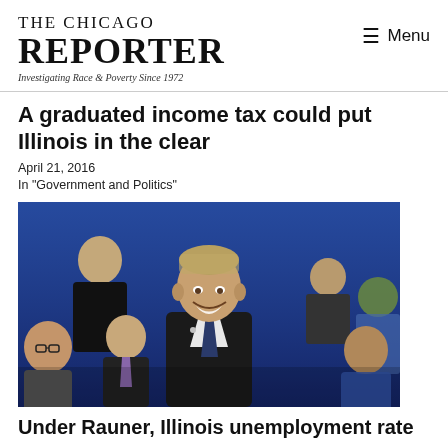THE CHICAGO REPORTER
Investigating Race & Poverty Since 1972
A graduated income tax could put Illinois in the clear
April 21, 2016
In "Government and Politics"
[Figure (photo): A smiling man in a dark suit and tie surrounded by people in a crowd, against a blue background]
Under Rauner, Illinois unemployment rate